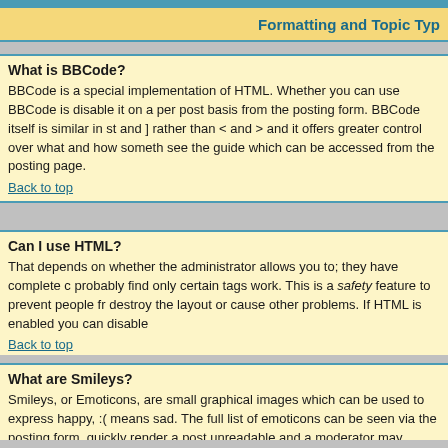Formatting and Topic Typ
What is BBCode?
BBCode is a special implementation of HTML. Whether you can use BBCode is disable it on a per post basis from the posting form. BBCode itself is similar in st and ] rather than < and > and it offers greater control over what and how someth see the guide which can be accessed from the posting page.
Back to top
Can I use HTML?
That depends on whether the administrator allows you to; they have complete c probably find only certain tags work. This is a safety feature to prevent people fr destroy the layout or cause other problems. If HTML is enabled you can disable
Back to top
What are Smileys?
Smileys, or Emoticons, are small graphical images which can be used to express happy, :( means sad. The full list of emoticons can be seen via the posting form. quickly render a post unreadable and a moderator may decide to edit them out o
Back to top